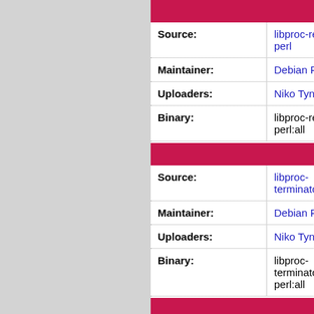libproc-relia...
| Field | Value |
| --- | --- |
| Source: | libproc-reliable-perl |
| Maintainer: | Debian Perl Group |
| Uploaders: | Niko Tyni <ntyni@... |
| Binary: | libproc-reliable-perl:all |
libproc-termin...
| Field | Value |
| --- | --- |
| Source: | libproc-terminator-perl |
| Maintainer: | Debian Perl Group |
| Uploaders: | Niko Tyni <ntyni@... |
| Binary: | libproc-terminator-perl:all |
librpc-xml...
| Field | Value |
| --- | --- |
| Source: | librpc-xml-perl |
| Maintainer: | Debian Perl Group |
| Uploaders: | Ivan Kohler <ivan-... |